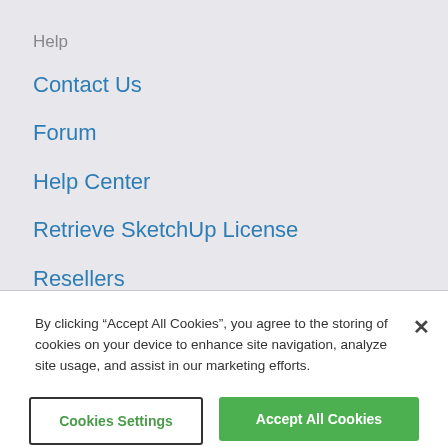Help
Contact Us
Forum
Help Center
Retrieve SketchUp License
Resellers
By clicking “Accept All Cookies”, you agree to the storing of cookies on your device to enhance site navigation, analyze site usage, and assist in our marketing efforts.
Cookies Settings
Accept All Cookies